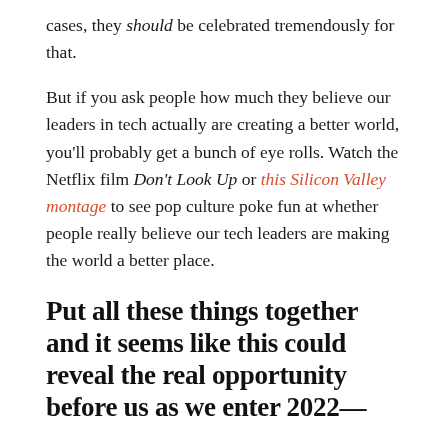cases, they should be celebrated tremendously for that.
But if you ask people how much they believe our leaders in tech actually are creating a better world, you'll probably get a bunch of eye rolls. Watch the Netflix film Don't Look Up or this Silicon Valley montage to see pop culture poke fun at whether people really believe our tech leaders are making the world a better place.
Put all these things together and it seems like this could reveal the real opportunity before us as we enter 2022—
To do something different than just scale, grow,